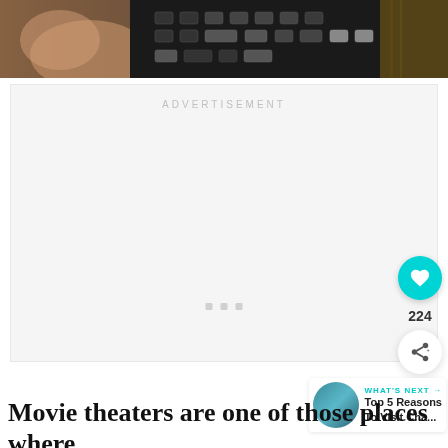[Figure (photo): Photo strip at top showing a hand pressing keys on a black calculator/keyboard device, dark tones]
ADVERTISEMENT
[Figure (other): Advertisement placeholder box with three small grey dots at center bottom]
224
WHAT'S NEXT → Top 5 Reasons To Visit Cha...
Movie theaters are one of those places where